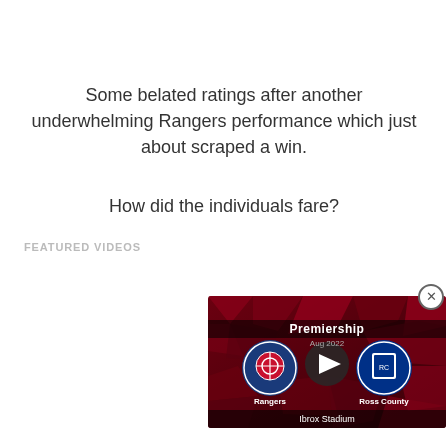Some belated ratings after another underwhelming Rangers performance which just about scraped a win.
How did the individuals fare?
FEATURED VIDEOS
[Figure (screenshot): Video thumbnail showing a Premiership match between Rangers and Ross County at Ibrox Stadium, with a play button in the center and team logos on either side, on a dark red geometric background.]